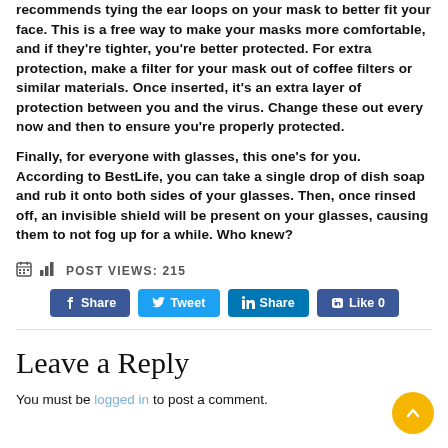recommends tying the ear loops on your mask to better fit your face. This is a free way to make your masks more comfortable, and if they're tighter, you're better protected. For extra protection, make a filter for your mask out of coffee filters or similar materials. Once inserted, it's an extra layer of protection between you and the virus. Change these out every now and then to ensure you're properly protected.
Finally, for everyone with glasses, this one's for you. According to BestLife, you can take a single drop of dish soap and rub it onto both sides of your glasses. Then, once rinsed off, an invisible shield will be present on your glasses, causing them to not fog up for a while. Who knew?
POST VIEWS: 215
[Figure (other): Social sharing buttons: Facebook Share, Twitter Tweet, LinkedIn Share, Facebook Like 0]
Leave a Reply
You must be logged in to post a comment.